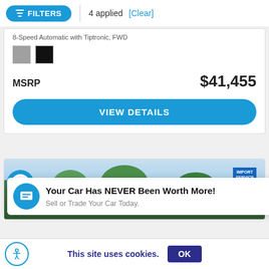FILTERS | 4 applied [Clear]
8-Speed Automatic with Tiptronic, FWD
MSRP  $41,455
VIEW DETAILS
[Figure (screenshot): Car dealership outdoor photo with trees and Import Service sign]
Your Car Has NEVER Been Worth More!
Sell or Trade Your Car Today.
This site uses cookies.  OK